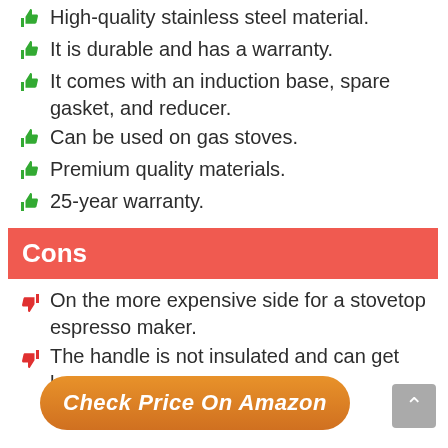High-quality stainless steel material.
It is durable and has a warranty.
It comes with an induction base, spare gasket, and reducer.
Can be used on gas stoves.
Premium quality materials.
25-year warranty.
Cons
On the more expensive side for a stovetop espresso maker.
The handle is not insulated and can get hot.
Check Price On Amazon